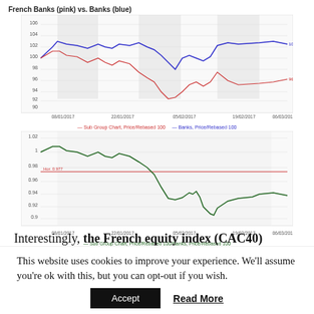[Figure (line-chart): Two line charts: top shows French Banks (pink/red line) vs Banks (blue line) rebased to 100, time axis from 08/01/2017 to 06/03/2017. Bottom shows ratio of Sub Group Chart Price/Rebased 100 to Banks Price/Rebased 100 (green line) with a red horizontal reference line, same time axis.]
Interestingly, the French equity index (CAC40) hardly budged over the same period when French banks were tanking. And the CAC 40
This website uses cookies to improve your experience. We'll assume you're ok with this, but you can opt-out if you wish.